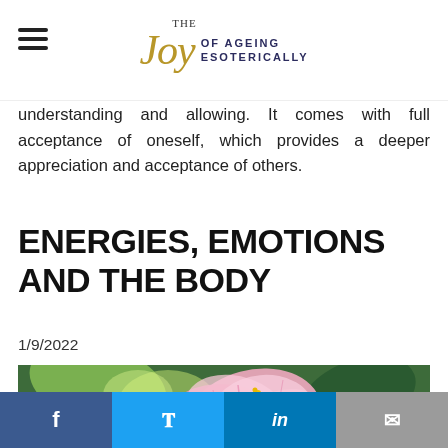THE Joy OF AGEING ESOTERICALLY
understanding and allowing. It comes with full acceptance of oneself, which provides a deeper appreciation and acceptance of others.
ENERGIES, EMOTIONS AND THE BODY
1/9/2022
[Figure (photo): Pink hibiscus flower with green leaves in background]
Social share buttons: Facebook, Twitter, LinkedIn, Email